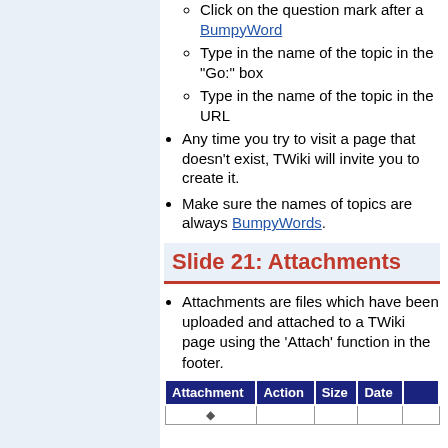Click on the question mark after a BumpyWord
Type in the name of the topic in the "Go:" box
Type in the name of the topic in the URL
Any time you try to visit a page that doesn't exist, TWiki will invite you to create it.
Make sure the names of topics are always BumpyWords.
Slide 21: Attachments
Attachments are files which have been uploaded and attached to a TWiki page using the 'Attach' function in the footer.
| Attachment | Action | Size | Date |
| --- | --- | --- | --- |
| ↕ |  |  |  |